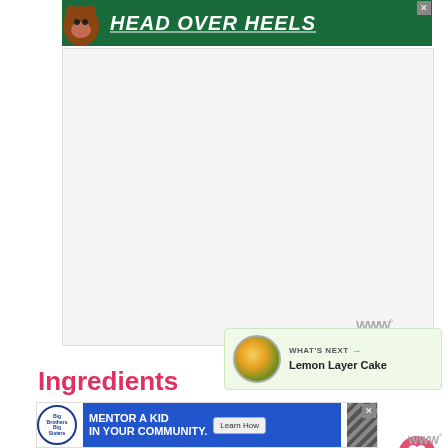[Figure (infographic): Advertisement banner with dark green background, cartoon dog image on left, bold white italic text 'HEAD OVER HEELS' with underline, and close X button top right]
[Figure (photo): Large white/light grey content area, likely a recipe photo placeholder]
[Figure (infographic): Like (heart) button in pink/red circle showing count 1.2K, and share button in light green circle]
1.2K
[Figure (infographic): WHAT'S NEXT panel with thumbnail of Lemon Layer Cake and arrow label]
WHAT'S NEXT → Lemon Layer Cake
Ingredients
[Figure (infographic): Bottom advertisement: Big Brothers Big Sisters 'MENTOR A KID IN YOUR COMMUNITY' with Learn How button, diagonal stripe pattern, and close button]